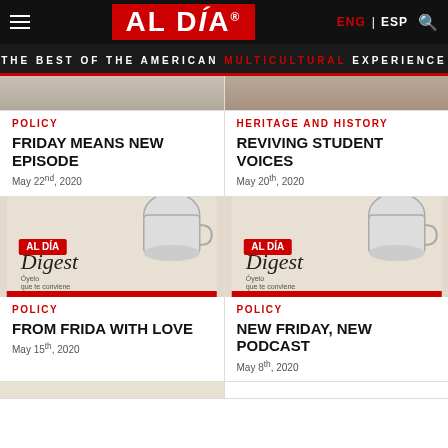AL DÍA — THE BEST OF THE AMERICAN MULTICULTURAL EXPERIENCE — ENG | ESP
[Figure (screenshot): Partial top image of article 1 (cropped)]
[Figure (screenshot): Partial top image of article 2 (cropped), person visible]
POLICY
FRIDAY MEANS NEW EPISODE
May 22nd, 2020
HERITAGE AND HISTORY
REVIVING STUDENT VOICES
May 20th, 2020
[Figure (photo): AL DÍA Digest podcast cover art with coffee mug]
POLICY
FROM FRIDA WITH LOVE
May 15th, 2020
[Figure (photo): AL DÍA Digest podcast cover art with coffee mug]
POLICY
NEW FRIDAY, NEW PODCAST
May 8th, 2020